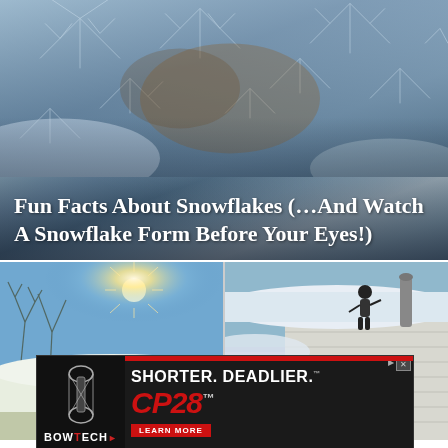[Figure (photo): Close-up macro photo of ice crystals and frost snowflake formations on a surface, with dark and blue-grey tones. White text overlay reads 'Fun Facts About Snowflakes (…And Watch A Snowflake Form Before Your Eyes!)']
Fun Facts About Snowflakes (…And Watch A Snowflake Form Before Your Eyes!)
[Figure (photo): Two side-by-side photos: left shows a person in a red jacket shoveling snow off a rooftop under a bright sunlit blue sky with bare trees; right shows a person in dark clothing pushing snow off a different rooftop.]
[Figure (screenshot): Advertisement banner for Bowtech CP28 compound bow. Black background with bow silhouette on left, 'SHORTER. DEADLIER.' headline in white, 'CP28' in large red text, 'LEARN MORE' red button, 'BOWTECH' brand logo. Small ad controls top-right.]